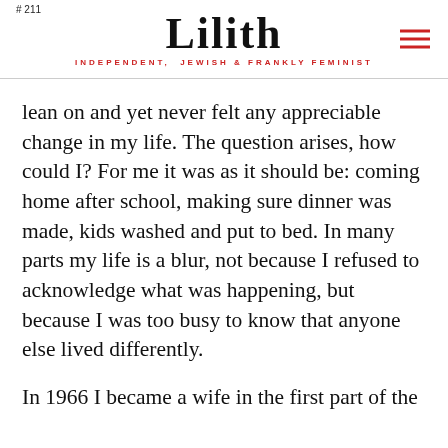Lilith — INDEPENDENT, JEWISH & FRANKLY FEMINIST
lean on and yet never felt any appreciable change in my life. The question arises, how could I? For me it was as it should be: coming home after school, making sure dinner was made, kids washed and put to bed. In many parts my life is a blur, not because I refused to acknowledge what was happening, but because I was too busy to know that anyone else lived differently.
In 1966 I became a wife in the first part of the